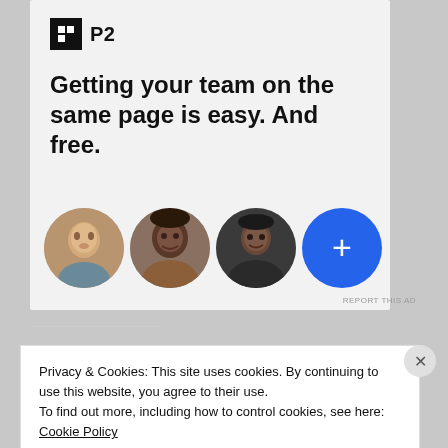[Figure (logo): P2 logo: black square icon with white grid lines and 'P2' text beside it]
Getting your team on the same page is easy. And free.
[Figure (illustration): Three circular avatar photos of team members and a blue circle with a white plus sign]
REPORT THIS AD
Privacy & Cookies: This site uses cookies. By continuing to use this website, you agree to their use.
To find out more, including how to control cookies, see here: Cookie Policy
Close and accept